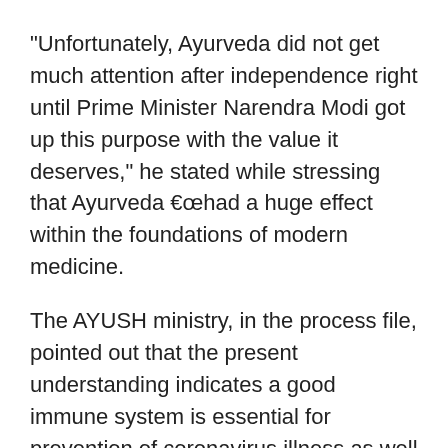“Unfortunately, Ayurveda did not get much attention after independence right until Prime Minister Narendra Modi got up this purpose with the value it deserves,” he stated while stressing that Ayurveda €œhad a huge effect within the foundations of modern medicine.
The AYUSH ministry, in the process file, pointed out that the present understanding indicates a good immune system is essential for prevention of coronavirus illness as well as to shield from disease progression.
The process suggests application of medications like Ashwagandha, Guduchi Ghana Vati or maybe Chyawanaprasha as prophylactic proper care for high risk population and main contacts of patients.
It advises usage of Guduchi Ghana Vati, Guduchi as well as AYUSH or Pippali sixty four for asymptomatic Covid 19